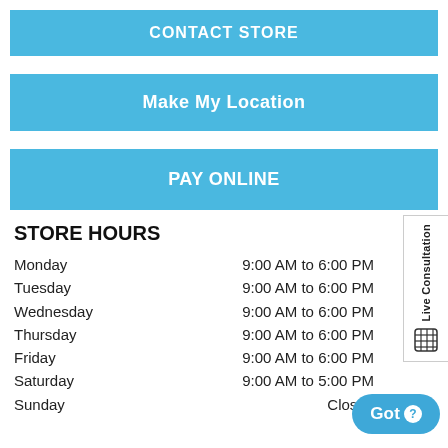CONTACT STORE
Make My Location
PAY ONLINE
STORE HOURS
Monday   9:00 AM to 6:00 PM
Tuesday   9:00 AM to 6:00 PM
Wednesday   9:00 AM to 6:00 PM
Thursday   9:00 AM to 6:00 PM
Friday   9:00 AM to 6:00 PM
Saturday   9:00 AM to 5:00 PM
Sunday   Closed